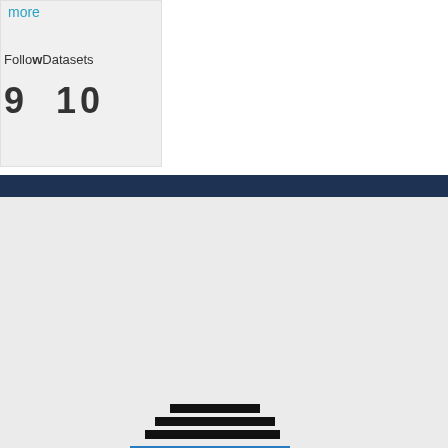more
Followers  Datasets
9  10
[Figure (logo): Code for Africa logo with stylized Africa continent made of horizontal bars in black, blue, and red colors, alongside text 'CODE for AFRICA']
2013 - 2022 Code for Africa
About openAFRICA
Terms and Conditions